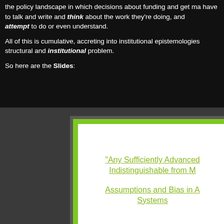the policy landscape in which decisions about funding and get ma have to talk and write and think about the work they're doing, and attempt to do or even understand.
All of this is cumulative, accreting into institutional epistemologies structural and institutional problem.
So here are the Slides:
[Figure (illustration): A slide thumbnail with green border showing two underlined yellow-green text lines: '"Any Sufficiently Advanced ... Indistinguishable from M...' and 'Assumptions and Bias in A... Systems']